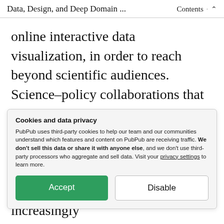Data, Design, and Deep Domain ... Contents ∧
online interactive data visualization, in order to reach beyond scientific audiences. Science–policy collaborations that bring together deep domain knowledge and new forms of data connected to migration aspects, such as increasingly available COVID-19 mobility data, are increasingly
Cookies and data privacy
PubPub uses third-party cookies to help our team and our communities understand which features and content on PubPub are receiving traffic. We don't sell this data or share it with anyone else, and we don't use third-party processors who aggregate and sell data. Visit your privacy settings to learn more.
Accept  Disable